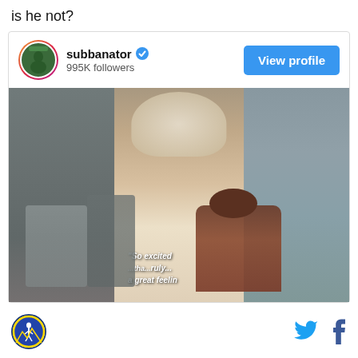is he not?
[Figure (screenshot): Instagram profile card for 'subbanator' with verified badge, 995K followers, View profile button, and a photo of people posing in front of a Serena Williams poster at Wimbledon with quote text visible]
[Figure (logo): Circular sports logo at bottom left]
[Figure (other): Twitter bird icon in blue]
[Figure (other): Facebook f icon in navy blue]